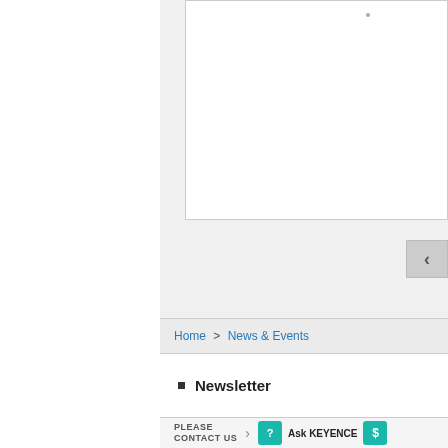[Figure (screenshot): White content/image box with a small dot near top center, partially cropped at right edge]
[Figure (screenshot): Back navigation button with left-pointing arrow, light gray background]
Home > News & Events
Newsletter
PLEASE CONTACT US > Ask KEYENCE